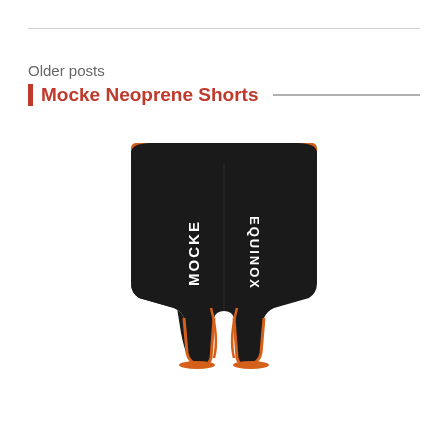Older posts
Mocke Neoprene Shorts
[Figure (photo): Black neoprene shorts with orange trim at waistband and leg openings, white 'MOCKE' text printed vertically on both legs, viewed from the back.]